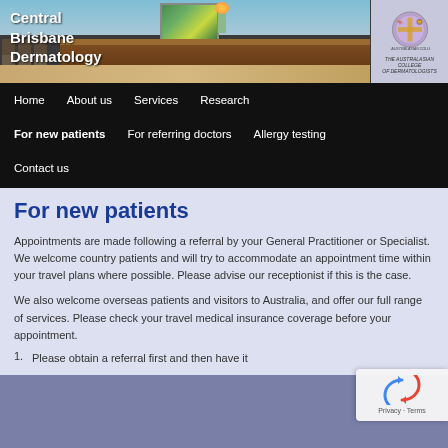[Figure (photo): Header photo of Central Brisbane Dermatology clinic reception area with waiting chairs visible, and The Australasian College of Dermatologists logo on the right]
Central Brisbane Dermatology
Home | About us | Services | Research | For new patients | For referring doctors | Allergy testing | Contact us
For new patients
Appointments are made following a referral by your General Practitioner or Specialist. We welcome country patients and will try to accommodate an appointment time within your travel plans where possible. Please advise our receptionist if this is the case.
We also welcome overseas patients and visitors to Australia, and offer our full range of services. Please check your travel medical insurance coverage before your appointment.
1. Please obtain a referral first and then have it